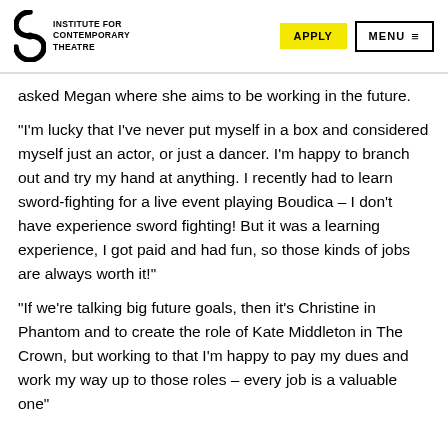INSTITUTE FOR CONTEMPORARY THEATRE | APPLY | MENU
asked Megan where she aims to be working in the future.
“I’m lucky that I’ve never put myself in a box and considered myself just an actor, or just a dancer. I’m happy to branch out and try my hand at anything. I recently had to learn sword-fighting for a live event playing Boudica – I don’t have experience sword fighting! But it was a learning experience, I got paid and had fun, so those kinds of jobs are always worth it!”
“If we’re talking big future goals, then it’s Christine in Phantom and to create the role of Kate Middleton in The Crown, but working to that I’m happy to pay my dues and work my way up to those roles – every job is a valuable one”